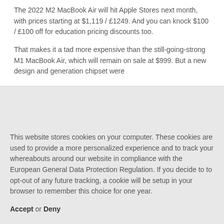The 2022 M2 MacBook Air will hit Apple Stores next month, with prices starting at $1,119 / £1249. And you can knock $100 / £100 off for education pricing discounts too.
That makes it a tad more expensive than the still-going-strong M1 MacBook Air, which will remain on sale at $999. But a new design and generation chipset were
This website stores cookies on your computer. These cookies are used to provide a more personalized experience and to track your whereabouts around our website in compliance with the European General Data Protection Regulation. If you decide to to opt-out of any future tracking, a cookie will be setup in your browser to remember this choice for one year.
Accept or Deny